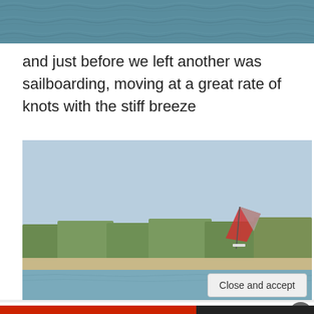[Figure (photo): Top partial image showing blue-green water surface]
and just before we left another was sailboarding, moving at a great rate of knots with the stiff breeze
[Figure (photo): Photo of a sailboarder on water with tree-covered shoreline in background under a light blue sky]
Privacy & Cookies: This site uses cookies. By continuing to use this website, you agree to their use.
To find out more, including how to control cookies, see here: Cookie Policy
Close and accept